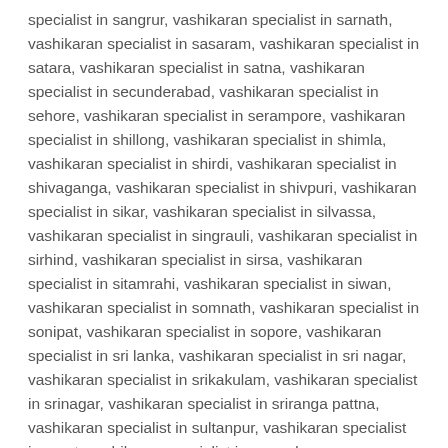specialist in sangrur, vashikaran specialist in sarnath, vashikaran specialist in sasaram, vashikaran specialist in satara, vashikaran specialist in satna, vashikaran specialist in secunderabad, vashikaran specialist in sehore, vashikaran specialist in serampore, vashikaran specialist in shillong, vashikaran specialist in shimla, vashikaran specialist in shirdi, vashikaran specialist in shivaganga, vashikaran specialist in shivpuri, vashikaran specialist in sikar, vashikaran specialist in silvassa, vashikaran specialist in singrauli, vashikaran specialist in sirhind, vashikaran specialist in sirsa, vashikaran specialist in sitamrahi, vashikaran specialist in siwan, vashikaran specialist in somnath, vashikaran specialist in sonipat, vashikaran specialist in sopore, vashikaran specialist in sri lanka, vashikaran specialist in sri nagar, vashikaran specialist in srikakulam, vashikaran specialist in srinagar, vashikaran specialist in sriranga pattna, vashikaran specialist in sultanpur, vashikaran specialist in surat, vashikaran specialist in surendranagar, vashikaran specialist in suri, vashikaran specialist in sydney, vashikaran specialist in